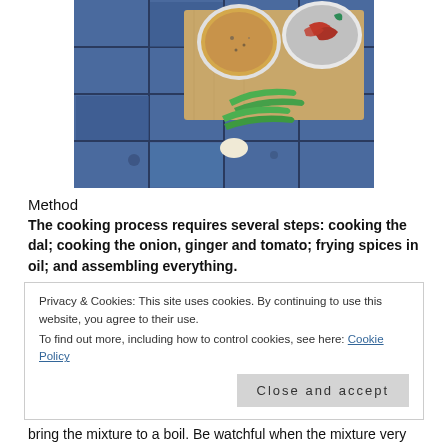[Figure (photo): Overhead photo of spices and green chilies on a blue tiled surface with a wooden cutting board. Two white bowls contain mixed spices and dried red chilies. Several green finger chilies are laid out on the wooden board.]
Method
The cooking process requires several steps: cooking the dal; cooking the onion, ginger and tomato; frying spices in oil; and assembling everything.
Privacy & Cookies: This site uses cookies. By continuing to use this website, you agree to their use.
To find out more, including how to control cookies, see here: Cookie Policy

Close and accept
bring the mixture to a boil. Be watchful when the mixture very